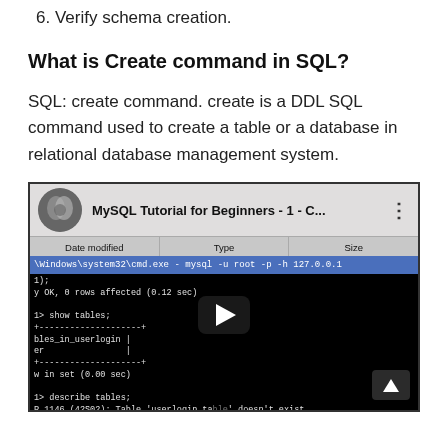6. Verify schema creation.
What is Create command in SQL?
SQL: create command. create is a DDL SQL command used to create a table or a database in relational database management system.
[Figure (screenshot): A YouTube video thumbnail showing a MySQL Tutorial for Beginners video. The thumbnail includes a command prompt window displaying MySQL commands including show tables, describe tables, and describe user, showing database table structure with fields like Type, Null, Key, Default, Extra. A play button overlay is visible in the center.]